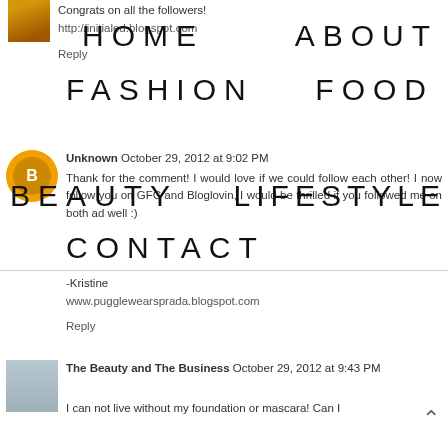[Figure (photo): Small avatar thumbnail of a person]
Congrats on all the followers!
HOME   ABOUT   FASHION   FOOD   BEAUTY   LIFESTYLE   CONTACT
http://initialed.blogspot.com
Reply
[Figure (photo): Orange circular avatar for Unknown commenter]
Unknown  October 29, 2012 at 9:02 PM
Thank for the comment! I would love if we could follow each other! I now follow you on GFC and Bloglovin, I would be thrilled if you followed me on both ad well :)
-Kristine
www.pugglewearsprada.blogspot.com
Reply
[Figure (photo): Small avatar photo for The Beauty and The Business commenter]
The Beauty and The Business  October 29, 2012 at 9:43 PM
I can not live without my foundation or mascara! Can I